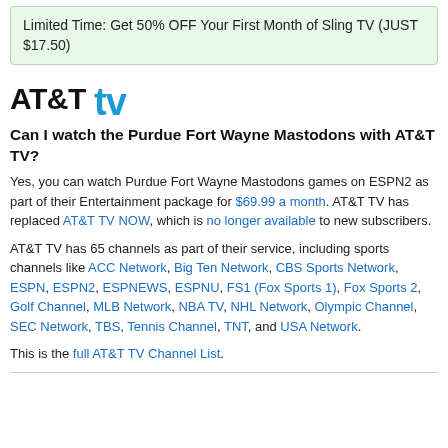Limited Time: Get 50% OFF Your First Month of Sling TV (JUST $17.50)
[Figure (logo): AT&T TV logo with black AT&T text and blue tv lettering]
Can I watch the Purdue Fort Wayne Mastodons with AT&T TV?
Yes, you can watch Purdue Fort Wayne Mastodons games on ESPN2 as part of their Entertainment package for $69.99 a month. AT&T TV has replaced AT&T TV NOW, which is no longer available to new subscribers.
AT&T TV has 65 channels as part of their service, including sports channels like ACC Network, Big Ten Network, CBS Sports Network, ESPN, ESPN2, ESPNEWS, ESPNU, FS1 (Fox Sports 1), Fox Sports 2, Golf Channel, MLB Network, NBA TV, NHL Network, Olympic Channel, SEC Network, TBS, Tennis Channel, TNT, and USA Network.
This is the full AT&T TV Channel List.